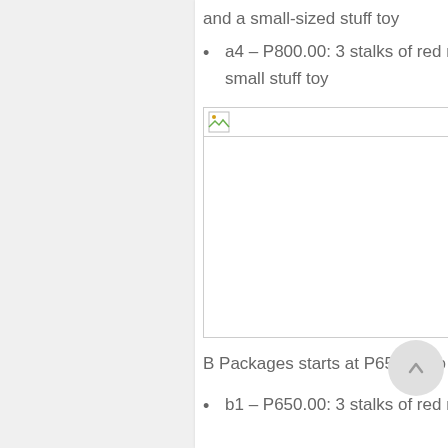and a small-sized stuff toy
a4 – P800.00: 3 stalks of red roses, 3 pieces of Ferrero Rocher, a slice of cake and a small stuff toy
[Figure (photo): Broken/missing image placeholder]
B Packages starts at P650.00 to P1,210.00
b1 – P650.00: 3 stalks of red roses and 5 pieces of Ferrero Rocher